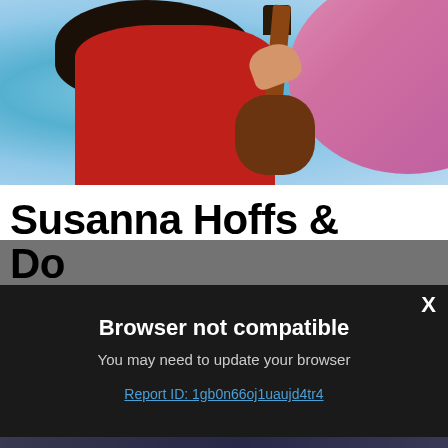[Figure (photo): Woman in red dress holding a guitar, against a blue/teal and pink background. Partial view showing torso and guitar neck.]
Susanna Hoffs & Doris Day, "I'll Be Your Mine" (...)
In 1984, years be... great guitarist Da... Day, covering 196... psychedelic "Pais...
[Figure (screenshot): Dark modal dialog with text: 'Browser not compatible. You may need to update your browser. Report ID: 1gb0n66oj1uaujd4tr4']
[Figure (other): Rolling Stone magazine advertisement banner. Text: NEW RollingStone.com ON SALE SEP 5 SUBSCRIBE]